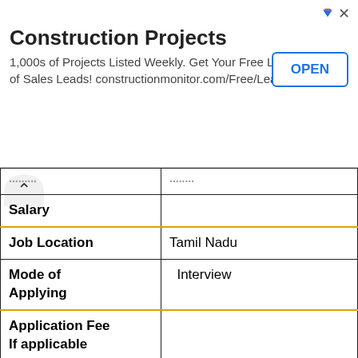[Figure (other): Advertisement banner for Construction Projects - 1,000s of Projects Listed Weekly. Get Your Free List of Sales Leads! constructionmonitor.com/Free/Leads with an OPEN button]
| Salary |  |
| Job Location | Tamil Nadu |
| Mode of Applying | Interview |
| Application Fee If applicable |  |
| Mode of Payment of Application Fee |  |
| Date of Announcement |  |
| Last Date for Applying |  |